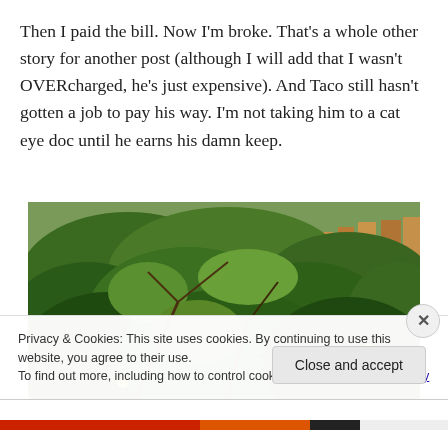Then I paid the bill. Now I'm broke. That's a whole other story for another post (although I will add that I wasn't OVERcharged, he's just expensive). And Taco still hasn't gotten a job to pay his way. I'm not taking him to a cat eye doc until he earns his damn keep.
[Figure (photo): Outdoor garden scene with dense green foliage, shrubs and branches against a wooden fence backdrop]
Privacy & Cookies: This site uses cookies. By continuing to use this website, you agree to their use.
To find out more, including how to control cookies, see here: Cookie Policy